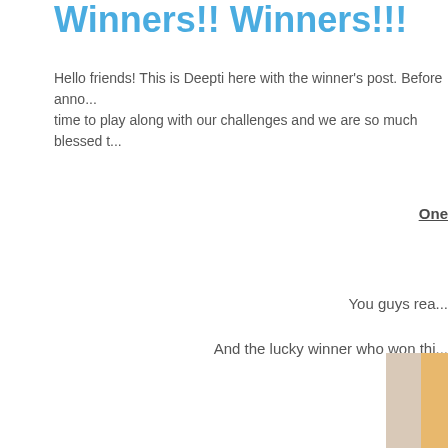Winners!! Winners!!!
Hello friends! This is Deepti here with the winner's post. Before anno... time to play along with our challenges and we are so much blessed t...
One
You guys rea...
And the lucky winner who won thi...
[Figure (photo): Partially visible image in the bottom right corner with orange/tan colors]